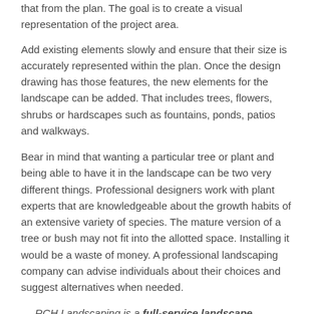that from the plan. The goal is to create a visual representation of the project area.
Add existing elements slowly and ensure that their size is accurately represented within the plan. Once the design drawing has those features, the new elements for the landscape can be added. That includes trees, flowers, shrubs or hardscapes such as fountains, ponds, patios and walkways.
Bear in mind that wanting a particular tree or plant and being able to have it in the landscape can be two very different things. Professional designers work with plant experts that are knowledgeable about the growth habits of an extensive variety of species. The mature version of a tree or bush may not fit into the allotted space. Installing it would be a waste of money. A professional landscaping company can advise individuals about their choices and suggest alternatives when needed.
RCH Landscaping is a full-service landscape company based in Boca Raton, Florida. We design, install and maintain Commercial and Residential landscapes all around Boca Raton, Delray Beach, and The